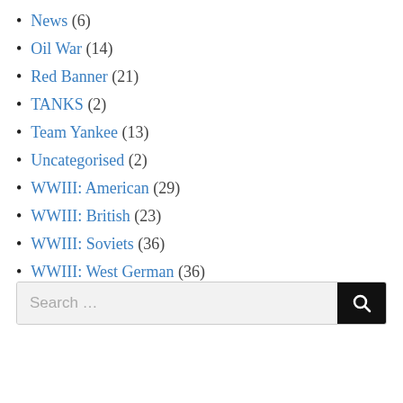News (6)
Oil War (14)
Red Banner (21)
TANKS (2)
Team Yankee (13)
Uncategorised (2)
WWIII: American (29)
WWIII: British (23)
WWIII: Soviets (36)
WWIII: West German (36)